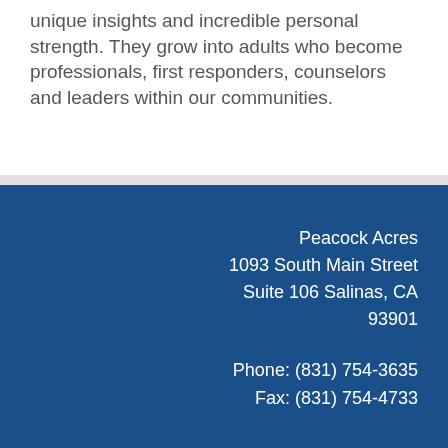unique insights and incredible personal strength. They grow into adults who become professionals, first responders, counselors and leaders within our communities.
Peacock Acres
1093 South Main Street
Suite 106 Salinas, CA
93901
Phone: (831) 754-3635
Fax: (831) 754-4733